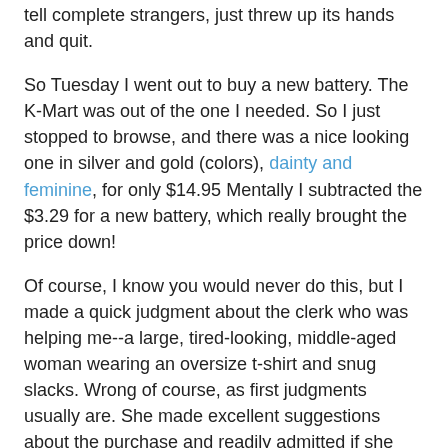tell complete strangers, just threw up its hands and quit.
So Tuesday I went out to buy a new battery. The K-Mart was out of the one I needed. So I just stopped to browse, and there was a nice looking one in silver and gold (colors), dainty and feminine, for only $14.95 Mentally I subtracted the $3.29 for a new battery, which really brought the price down!
Of course, I know you would never do this, but I made a quick judgment about the clerk who was helping me--a large, tired-looking, middle-aged woman wearing an oversize t-shirt and snug slacks. Wrong of course, as first judgments usually are. She made excellent suggestions about the purchase and readily admitted if she didn't know the answer to my questions.
Turns out she was from South Carolina and had lived here about a year. Her husband was transferred and is required to stay with his company because he has some patents. She misses swimming in her pool and scuba diving (we've had a horribly rainy summer).